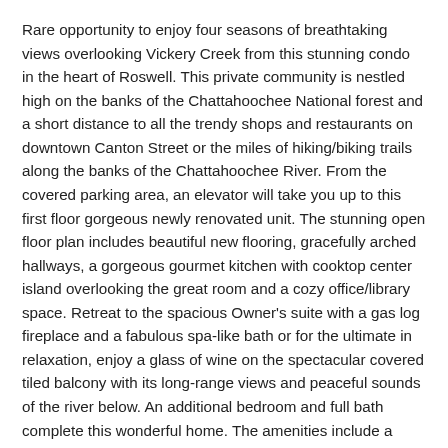Rare opportunity to enjoy four seasons of breathtaking views overlooking Vickery Creek from this stunning condo in the heart of Roswell. This private community is nestled high on the banks of the Chattahoochee National forest and a short distance to all the trendy shops and restaurants on downtown Canton Street or the miles of hiking/biking trails along the banks of the Chattahoochee River. From the covered parking area, an elevator will take you up to this first floor gorgeous newly renovated unit. The stunning open floor plan includes beautiful new flooring, gracefully arched hallways, a gorgeous gourmet kitchen with cooktop center island overlooking the great room and a cozy office/library space. Retreat to the spacious Owner's suite with a gas log fireplace and a fabulous spa-like bath or for the ultimate in relaxation, enjoy a glass of wine on the spectacular covered tiled balcony with its long-range views and peaceful sounds of the river below. An additional bedroom and full bath complete this wonderful home. The amenities include a swimming pool, tennis court, fitness center and a storage unit. 2 assigned parking spaces.